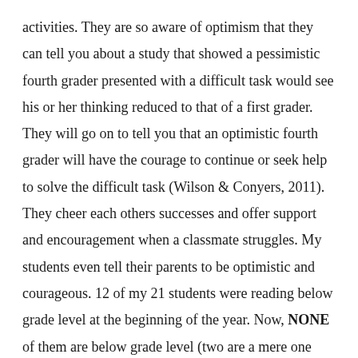activities. They are so aware of optimism that they can tell you about a study that showed a pessimistic fourth grader presented with a difficult task would see his or her thinking reduced to that of a first grader. They will go on to tell you that an optimistic fourth grader will have the courage to continue or seek help to solve the difficult task (Wilson & Conyers, 2011). They cheer each others successes and offer support and encouragement when a classmate struggles. My students even tell their parents to be optimistic and courageous. 12 of my 21 students were reading below grade level at the beginning of the year. Now, NONE of them are below grade level (two are a mere one month behind where they should be), and ALL of them are